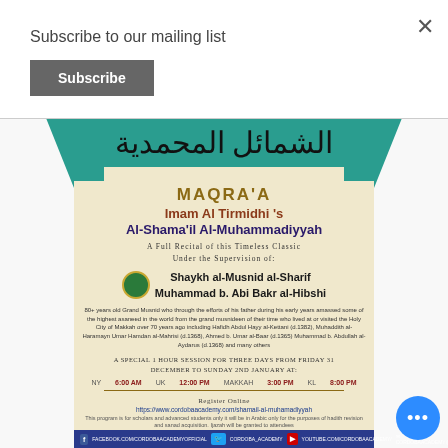Subscribe to our mailing list
Subscribe
[Figure (infographic): Event poster for Maqra'a reading of Imam Al Tirmidhi's Al-Shama'il Al-Muhammadiyyah under Shaykh al-Musnid al-Sharif Muhammad b. Abi Bakr al-Hibshi, with times for NY, UK, Makkah, and KL, and registration URL]
MAQRA'A
Imam Al Tirmidhi 's
Al-Shama'il Al-Muhammadiyyah
A Full Recital of this Timeless Classic Under the Supervision of:
Shaykh al-Musnid al-Sharif Muhammad b. Abi Bakr al-Hibshi
80+ years old Grand Musnid who through the efforts of his father during his early years amassed some of the highest asaneed in the world from the grand musnideen of their time who lived at or visited the Holy City of Makkah over 70 years ago including Hafidh Abdul Hayy al-Kettani (d.1382), Muhaddith al-Haramayn Umar Hamdan al-Mahrisi (d.1368), Ahmed b. Umar al-Baar (d.1365) Muhammad b. Abdullah al-Aydarus (d.1368) and many others
A SPECIAL 1 HOUR SESSION FOR THREE DAYS FROM FRIDAY 31 DECEMBER TO SUNDAY 2ND JANUARY AT:
NY 6:00 AM   UK 12:00 PM   MAKKAH 3:00 PM   KL 8:00 PM
Register Online
https://www.cordobaacademy.com/shamail-al-muhamadiyyah
This program is for scholars and advanced students only it will be in Arabic only for the purposes of hadith revision and sanad acquisition. Ijazah will be granted to attendees
FACEBOOK.COM/CORDOBAACADEMYOFFICIAL   CORDOBA_ACADEMY   YOUTUBE.COM/CORDOBAACADEMY/   CORDOBAACADEMY@GMAIL.COM